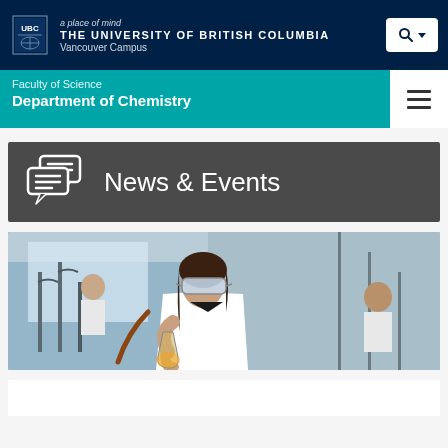a place of mind THE UNIVERSITY OF BRITISH COLUMBIA Vancouver Campus
Faculty of Science Department of Chemistry
News & Events
[Figure (photo): A female student wearing safety goggles and a white lab coat works with laboratory glassware and equipment in a chemistry lab. Other students are visible in the background.]